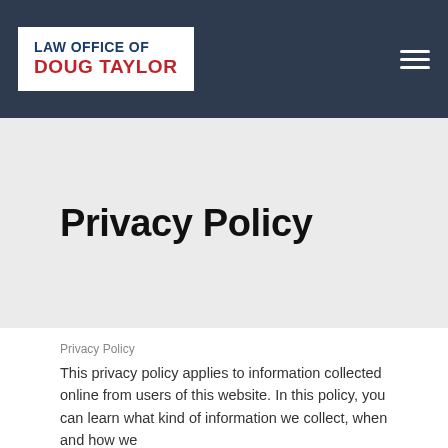LAW OFFICE OF DOUG TAYLOR
Privacy Policy
Privacy Policy
This privacy policy applies to information collected online from users of this website. In this policy, you can learn what kind of information we collect, when and how we might use that information, how we protect it,